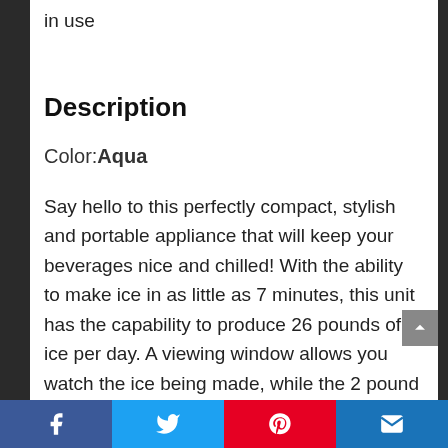in use
Description
Color: Aqua
Say hello to this perfectly compact, stylish and portable appliance that will keep your beverages nice and chilled! With the ability to make ice in as little as 7 minutes, this unit has the capability to produce 26 pounds of ice per day. A viewing window allows you watch the ice being made, while the 2 pound ice basket ensures plenty of capacity for all
Facebook Twitter Pinterest Email